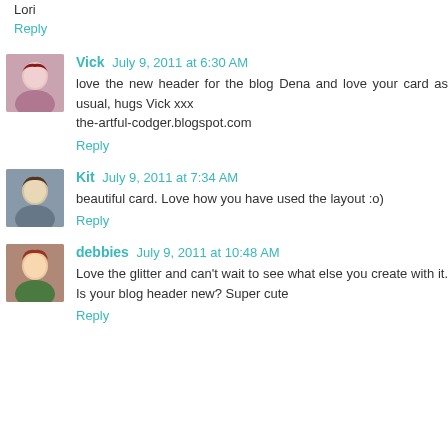Lori
Reply
Vick July 9, 2011 at 6:30 AM
love the new header for the blog Dena and love your card as usual, hugs Vick xxx the-artful-codger.blogspot.com
Reply
Kit July 9, 2011 at 7:34 AM
beautiful card. Love how you have used the layout :o)
Reply
debbies July 9, 2011 at 10:48 AM
Love the glitter and can't wait to see what else you create with it. Is your blog header new? Super cute
Reply